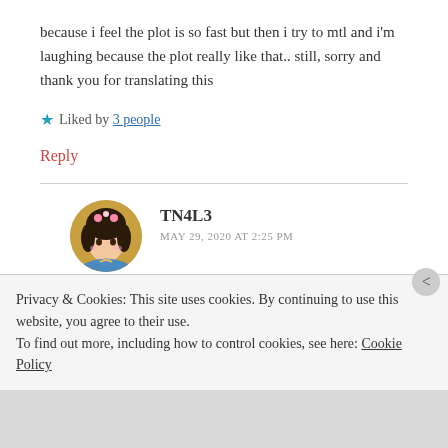because i feel the plot is so fast but then i try to mtl and i'm laughing because the plot really like that.. still, sorry and thank you for translating this
★ Liked by 3 people
Reply
TN4L3
MAY 29, 2020 AT 2:25 PM
Privacy & Cookies: This site uses cookies. By continuing to use this website, you agree to their use.
To find out more, including how to control cookies, see here: Cookie Policy
Close and accept